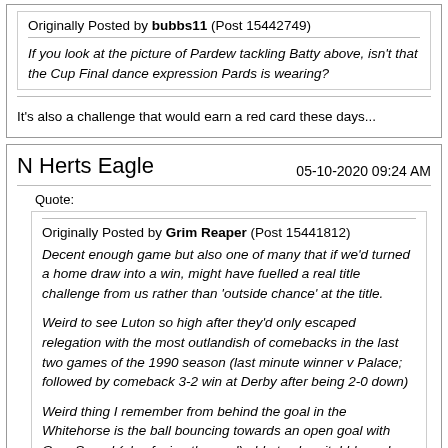Originally Posted by bubbs11 (Post 15442749) If you look at the picture of Pardew tackling Batty above, isn't that the Cup Final dance expression Pards is wearing?
It's also a challenge that would earn a red card these days...
N Herts Eagle
05-10-2020 09:24 AM
Quote:
Originally Posted by Grim Reaper (Post 15441812) Decent enough game but also one of many that if we'd turned a home draw into a win, might have fuelled a real title challenge from us rather than 'outside chance' at the title. Weird to see Luton so high after they'd only escaped relegation with the most outlandish of comebacks in the last two games of the 1990 season (last minute winner v Palace; followed by comeback 3-2 win at Derby after being 2-0 down) Weird thing I remember from behind the goal in the Whitehorse is the ball bouncing towards an open goal with Gary Speed (also facing the goal) able to clear it. I blamed myself for not screaming "SHOOT!" as he might have instinctively reacted to the shout and smashed it into the goal for a Palace winner. Ahhh the innocence of youth when all...